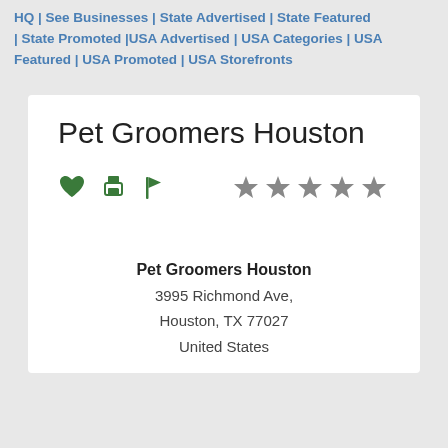HQ | See Businesses | State Advertised | State Featured | State Promoted | USA Advertised | USA Categories | USA Featured | USA Promoted | USA Storefronts
Pet Groomers Houston
[Figure (infographic): Row of action icons (heart, printer, flag in green) and 5 empty/grey star rating on the right]
Pet Groomers Houston
3995 Richmond Ave,
Houston, TX 77027
United States